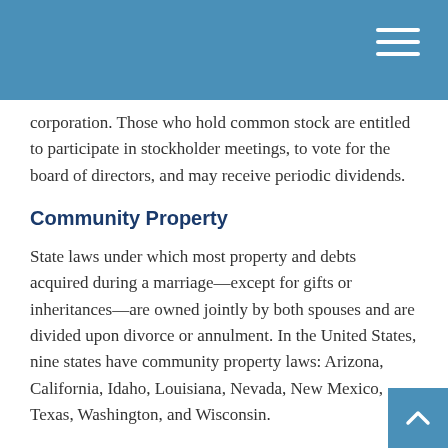corporation. Those who hold common stock are entitled to participate in stockholder meetings, to vote for the board of directors, and may receive periodic dividends.
Community Property
State laws under which most property and debts acquired during a marriage—except for gifts or inheritances—are owned jointly by both spouses and are divided upon divorce or annulment. In the United States, nine states have community property laws: Arizona, California, Idaho, Louisiana, Nevada, New Mexico, Texas, Washington, and Wisconsin.
Compound Interest
A process under which interest is computed both on